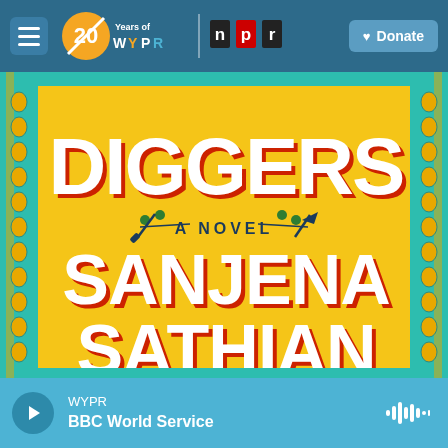[Figure (screenshot): WYPR radio station website header navigation bar with hamburger menu, WYPR 20 Years logo, NPR logo, and Donate button on blue background]
[Figure (photo): Book cover of 'Gold Diggers: A Novel' by Sanjena Sathian. Yellow background with large white and red shadow block letters spelling DIGGERS and SANJENA SATHIAN, small text A NOVEL with crossed shovel and pickaxe decoration, ornate teal and gold Indian-style border pattern on sides]
WYPR
BBC World Service
[Figure (other): Audio player bar with play button, WYPR station label, BBC World Service show name, and waveform icon]